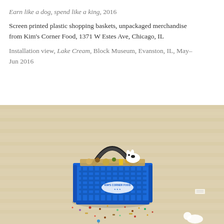Earn like a dog, spend like a king, 2016
Screen printed plastic shopping baskets, unpackaged merchandise from Kim's Corner Food, 1371 W Estes Ave, Chicago, IL
Installation view, Lake Cream, Block Museum, Evanston, IL, May–Jun 2016
[Figure (photo): A blue plastic shopping basket screen printed with 'Kim's Corner Food' logo, filled with mixed food debris and small figurines including a dog toy, sitting on a light wood floor. Various scattered food items, small colorful pieces, and debris are spread around the basket on the floor.]